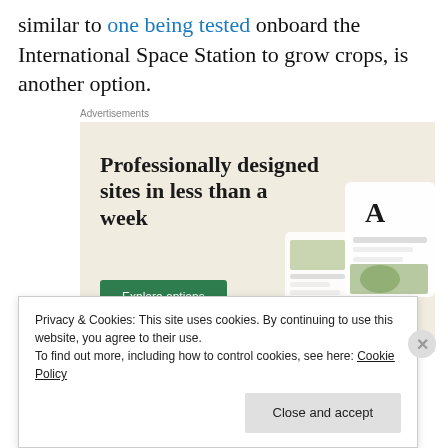similar to one being tested onboard the International Space Station to grow crops, is another option.
Advertisements
[Figure (illustration): Advertisement banner with beige background. Headline: 'Professionally designed sites in less than a week'. Green 'Explore options' button. Mockup of website screens on the right.]
Privacy & Cookies: This site uses cookies. By continuing to use this website, you agree to their use.
To find out more, including how to control cookies, see here: Cookie Policy
Close and accept